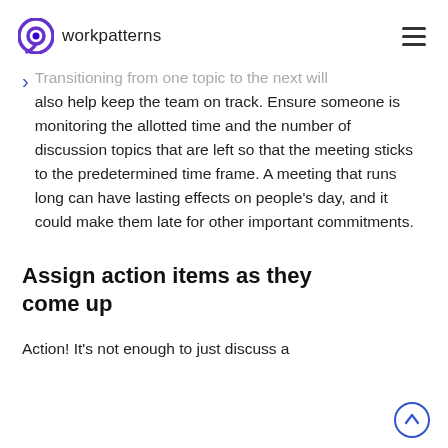workpatterns
Transitioning from one topic to the next will also help keep the team on track. Ensure someone is monitoring the allotted time and the number of discussion topics that are left so that the meeting sticks to the predetermined time frame. A meeting that runs long can have lasting effects on people's day, and it could make them late for other important commitments.
Assign action items as they come up
Action! It's not enough to just discuss a